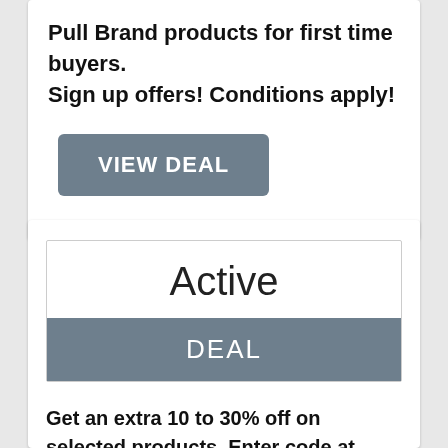Pull Brand products for first time buyers. Sign up offers! Conditions apply!
VIEW DEAL
Active
DEAL
Get an extra 10 to 30% off on selected products, Enter code at checkout.